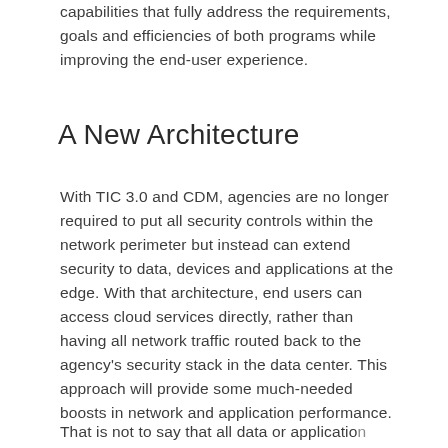capabilities that fully address the requirements, goals and efficiencies of both programs while improving the end-user experience.
A New Architecture
With TIC 3.0 and CDM, agencies are no longer required to put all security controls within the network perimeter but instead can extend security to data, devices and applications at the edge. With that architecture, end users can access cloud services directly, rather than having all network traffic routed back to the agency's security stack in the data center. This approach will provide some much-needed boosts in network and application performance.
That is not to say that all data or application